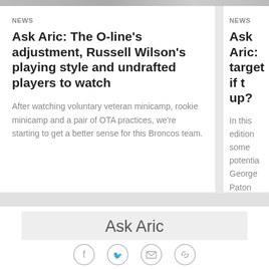[Figure (photo): Top image strip showing partial photos of people]
NEWS
Ask Aric: The O-line's adjustment, Russell Wilson's playing style and undrafted players to watch
After watching voluntary veteran minicamp, rookie minicamp and a pair of OTA practices, we're starting to get a better sense for this Broncos team.
NEWS
Ask Aric: target if t up?
In this edition some potentia George Paton remaining are and more.
Ask Aric
Submit your question. If your question is chosen, it may be featured on DenverBroncos.com in the Ask Aric